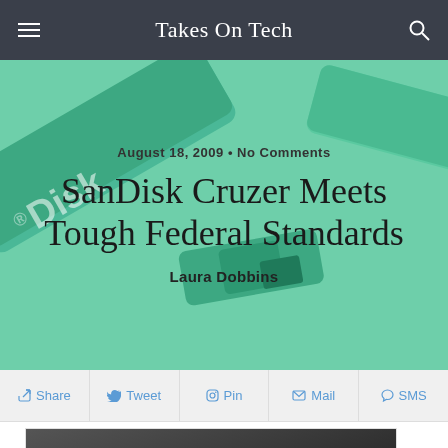Takes On Tech
[Figure (photo): Hero banner with green-tinted SanDisk USB flash drives in background]
August 18, 2009 • No Comments
SanDisk Cruzer Meets Tough Federal Standards
Laura Dobbins
Share  Tweet  Pin  Mail  SMS
[Figure (photo): SanDisk Cruzer USB flash drive product photo, black drive with SanDisk branding and 8GB label]